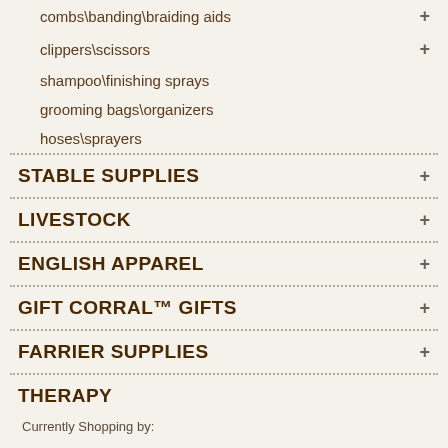combs\banding\braiding aids
clippers\scissors
shampoo\finishing sprays
grooming bags\organizers
hoses\sprayers
STABLE SUPPLIES
LIVESTOCK
ENGLISH APPAREL
GIFT CORRAL™ GIFTS
FARRIER SUPPLIES
THERAPY
Currently Shopping by: